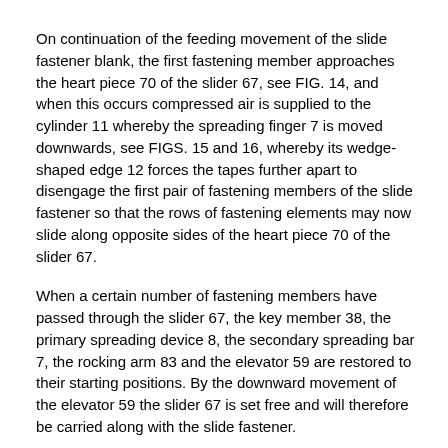On continuation of the feeding movement of the slide fastener blank, the first fastening member approaches the heart piece 70 of the slider 67, see FIG. 14, and when this occurs compressed air is supplied to the cylinder 11 whereby the spreading finger 7 is moved downwards, see FIGS. 15 and 16, whereby its wedge-shaped edge 12 forces the tapes further apart to disengage the first pair of fastening members of the slide fastener so that the rows of fastening elements may now slide along opposite sides of the heart piece 70 of the slider 67.
When a certain number of fastening members have passed through the slider 67, the key member 38, the primary spreading device 8, the secondary spreading bar 7, the rocking arm 83 and the elevator 59 are restored to their starting positions. By the downward movement of the elevator 59 the slider 67 is set free and will therefore be carried along with the slide fastener.
The abutment surfaces 81 and 82, see FIG. 1, are at this time no longer engaged and the compression spring 91, which is stronger than the pulling spring 78, causes the arm 76 to rotate downwards, whereby the releasing finger 73 is disengaged from the ring 66. Since the bottom face 75 of the releasing finger 73 is inclined there is no danger of jamming of the releasing finger 73 in the ring 66. In this manner the slider is locked to the slide